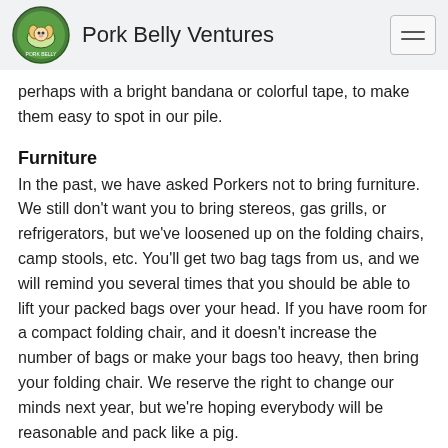Pork Belly Ventures
perhaps with a bright bandana or colorful tape, to make them easy to spot in our pile.
Furniture
In the past, we have asked Porkers not to bring furniture. We still don't want you to bring stereos, gas grills, or refrigerators, but we've loosened up on the folding chairs, camp stools, etc. You'll get two bag tags from us, and we will remind you several times that you should be able to lift your packed bags over your head. If you have room for a compact folding chair, and it doesn't increase the number of bags or make your bags too heavy, then bring your folding chair. We reserve the right to change our minds next year, but we're hoping everybody will be reasonable and pack like a pig.
Fla...